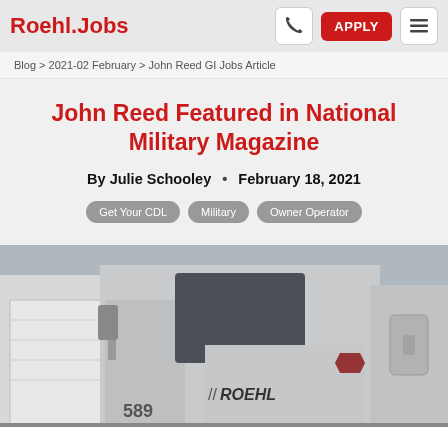Roehl.Jobs
Blog > 2021-02 February > John Reed GI Jobs Article
John Reed Featured in National Military Magazine
By Julie Schooley • February 18, 2021
Get Your CDL
Military
Owner Operator
[Figure (photo): A man standing in front of a Roehl Transport semi-truck (truck number 589) with the Roehl logo visible on the cab door]